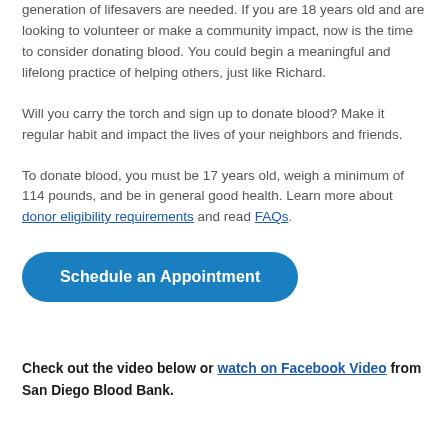generation of lifesavers are needed. If you are 18 years old and are looking to volunteer or make a community impact, now is the time to consider donating blood. You could begin a meaningful and lifelong practice of helping others, just like Richard.
Will you carry the torch and sign up to donate blood? Make it regular habit and impact the lives of your neighbors and friends.
To donate blood, you must be 17 years old, weigh a minimum of 114 pounds, and be in general good health. Learn more about donor eligibility requirements and read FAQs.
[Figure (other): Blue rounded button with white bold text reading 'Schedule an Appointment']
Check out the video below or watch on Facebook Video from San Diego Blood Bank.